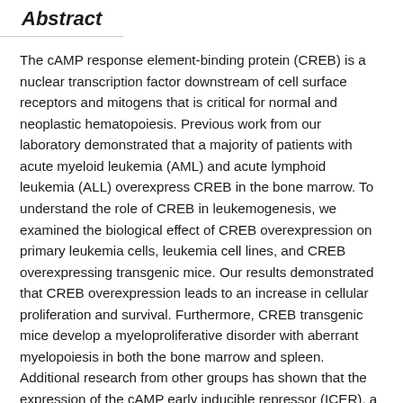Abstract
The cAMP response element-binding protein (CREB) is a nuclear transcription factor downstream of cell surface receptors and mitogens that is critical for normal and neoplastic hematopoiesis. Previous work from our laboratory demonstrated that a majority of patients with acute myeloid leukemia (AML) and acute lymphoid leukemia (ALL) overexpress CREB in the bone marrow. To understand the role of CREB in leukemogenesis, we examined the biological effect of CREB overexpression on primary leukemia cells, leukemia cell lines, and CREB overexpressing transgenic mice. Our results demonstrated that CREB overexpression leads to an increase in cellular proliferation and survival. Furthermore, CREB transgenic mice develop a myeloproliferative disorder with aberrant myelopoiesis in both the bone marrow and spleen. Additional research from other groups has shown that the expression of the cAMP early inducible repressor (ICER), a CREB